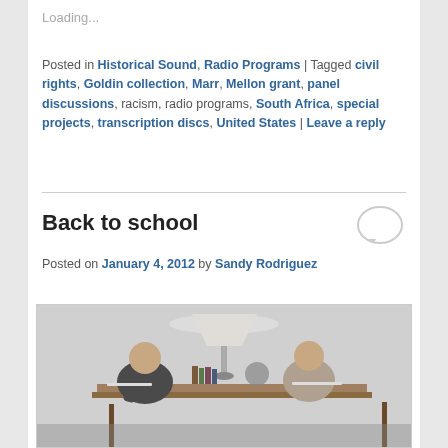Loading...
Posted in Historical Sound, Radio Programs | Tagged civil rights, Goldin collection, Marr, Mellon grant, panel discussions, racism, radio programs, South Africa, special projects, transcription discs, United States | Leave a reply
Back to school
Posted on January 4, 2012 by Sandy Rodriguez
[Figure (photo): Black and white photograph of two young men sitting at a desk with a lamp and books, both writing or studying]